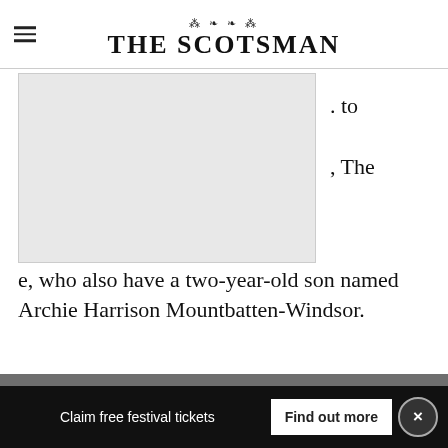THE SCOTSMAN
[Figure (photo): Partially visible photograph, mostly obscured, with text fragments visible to the right: '. to' and ', The']
e, who also have a two-year-old son named Archie Harrison Mountbatten-Windsor.
"The Duke and Duchess thank you for your warm wishes and prayers as they enjoy this
Claim free festival tickets   Find out more   ×